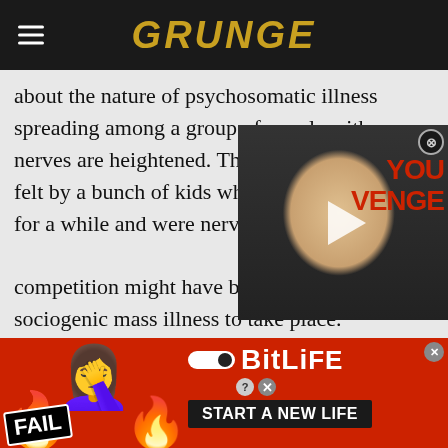GRUNGE
about the nature of psychosomatic illness spreading among a group of people with nerves are heightened. The ex felt by a bunch of kids who ha for a while and were nervous c competition might have been enough for sociogenic mass illness to take place.
[Figure (photo): Video thumbnail showing a smiling man in a dark jacket, with a play button overlay. Background shows partial red text 'VENGE'.]
[Figure (infographic): Advertisement banner for BitLife game with FAIL badge, flame emojis, animated girl emoji, sperm emoji logo, and 'START A NEW LIFE' text on dark background.]